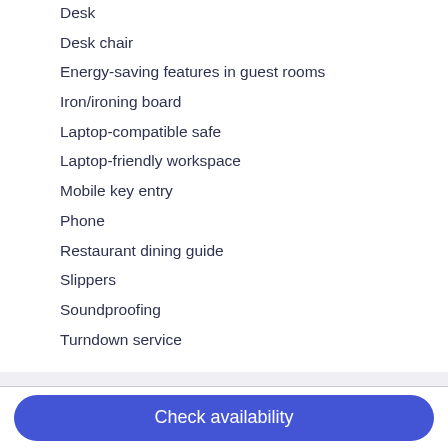Desk
Desk chair
Energy-saving features in guest rooms
Iron/ironing board
Laptop-compatible safe
Laptop-friendly workspace
Mobile key entry
Phone
Restaurant dining guide
Slippers
Soundproofing
Turndown service
Similar properties
Check availability